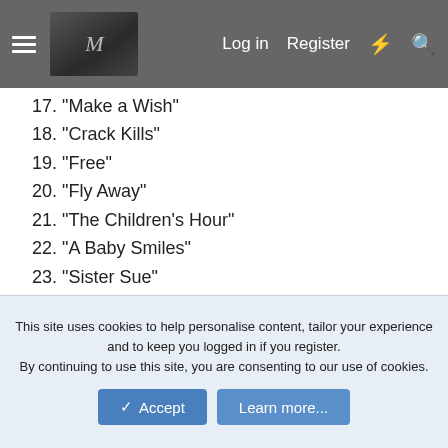Log in  Register
17. "Make a Wish"
18. "Crack Kills"
19. "Free"
20. "Fly Away"
21. "The Children's Hour"
22. "A Baby Smiles"
23. "Sister Sue"
24. "Little Susie"
25. "Tragedy of a Cheerleader"
26. "Get Around"
27. "Little Girls"
28. "In the Valley"
29. "Red Eye"
30. "I Forgive You"
This site uses cookies to help personalise content, tailor your experience and to keep you logged in if you register.
By continuing to use this site, you are consenting to our use of cookies.